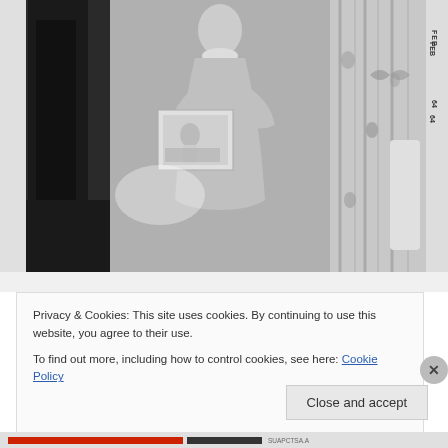[Figure (photo): Black and white vintage photograph of a young girl standing in front of a Christmas tree, holding a boxed doll gift. Curtains visible in the background. Photo stamp reads FEB 64 on the right edge.]
Privacy & Cookies: This site uses cookies. By continuing to use this website, you agree to their use.
To find out more, including how to control cookies, see here: Cookie Policy
Close and accept